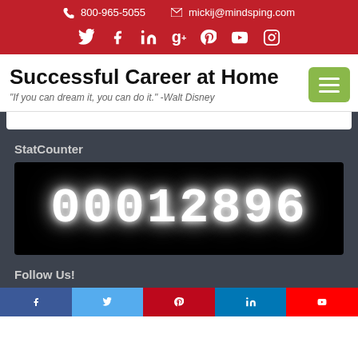800-965-5055  mickij@mindsping.com
[Figure (infographic): Social media icons row: Twitter, Facebook, LinkedIn, Google+, Pinterest, YouTube, Instagram — white icons on red background]
Successful Career at Home
"If you can dream it, you can do it." -Walt Disney
[Figure (screenshot): StatCounter widget showing visitor count: 00012896 displayed in large white digital/LED-style font on black background]
StatCounter
Follow Us!
[Figure (infographic): Row of social media follow buttons at bottom: Facebook, Twitter/another, Pinterest/red, LinkedIn/blue, YouTube/red]